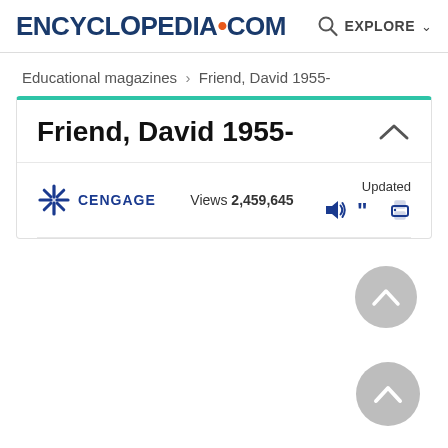ENCYCLopedia.com  EXPLORE
Educational magazines › Friend, David 1955-
Friend, David 1955-
CENGAGE  Views 2,459,645  Updated